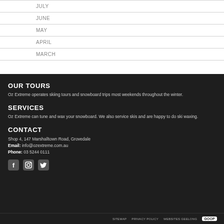|  |  |
| --- | --- |
|  | JULY |
|  | JUNE |
|  | MAY |
|  | APRIL |
|  | MARCH |
OUR TOURS
Oz Extreme operates skiing tours and snowboard trips most weekends throughout the winter.
SERVICES
Oz Extreme can tune and wax your snowboard. We also service skis and are happy to do ski waxing.
CONTACT
Shop 4, 147 Marshalltown Road, Grovedale
Email: info@ozextreme.com.au
Phone: 03 5244 0111
[Figure (other): Social media icons: Facebook, Instagram, Twitter]
SITEMAP   PRIVACY POLICY   WEBSITES GEELONG   GOOP